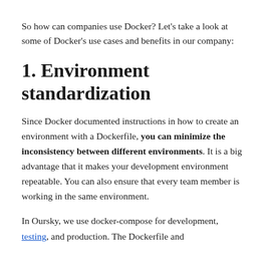So how can companies use Docker? Let's take a look at some of Docker's use cases and benefits in our company:
1. Environment standardization
Since Docker documented instructions in how to create an environment with a Dockerfile, you can minimize the inconsistency between different environments. It is a big advantage that it makes your development environment repeatable. You can also ensure that every team member is working in the same environment.
In Oursky, we use docker-compose for development, testing, and production. The Dockerfile and the docker-compose configuration files are checked in to our